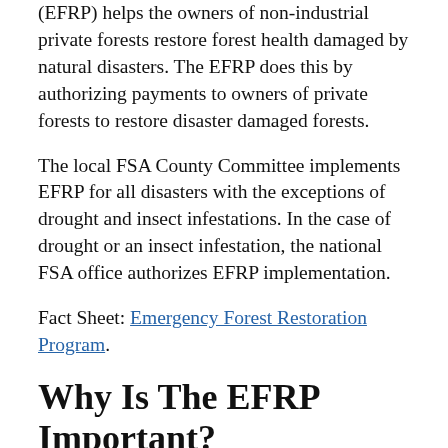(EFRP) helps the owners of non-industrial private forests restore forest health damaged by natural disasters. The EFRP does this by authorizing payments to owners of private forests to restore disaster damaged forests.
The local FSA County Committee implements EFRP for all disasters with the exceptions of drought and insect infestations. In the case of drought or an insect infestation, the national FSA office authorizes EFRP implementation.
Fact Sheet: Emergency Forest Restoration Program.
Why Is The EFRP Important?
Forests provide shelter for wildlife, help provide nutrients for soil, and help protect water quality. Proper stewardship of private forest health